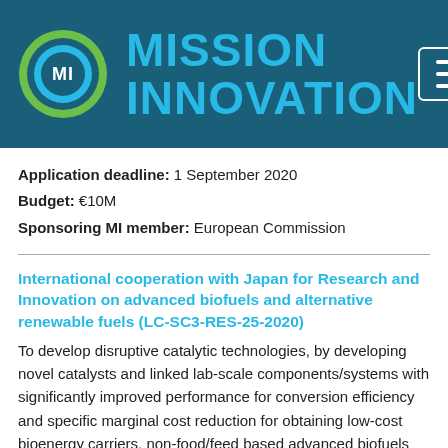[Figure (logo): Mission Innovation logo: circular MI emblem in green and blue with 'MISSION INNOVATION' text in cyan on dark teal background, with hamburger menu icon top right]
Application deadline: 1 September 2020
Budget: €10M
Sponsoring MI member: European Commission
International cooperation with Japan for Research and Innovation on advanced biofuels and alternative renewable fuels (LC-SC3-RES-25-2020)
To develop disruptive catalytic technologies, by developing novel catalysts and linked lab-scale components/systems with significantly improved performance for conversion efficiency and specific marginal cost reduction for obtaining low-cost bioenergy carriers, non-food/feed based advanced biofuels and alternative renewable fuels (excluding hydrogen) and maximizing GHG abatement.